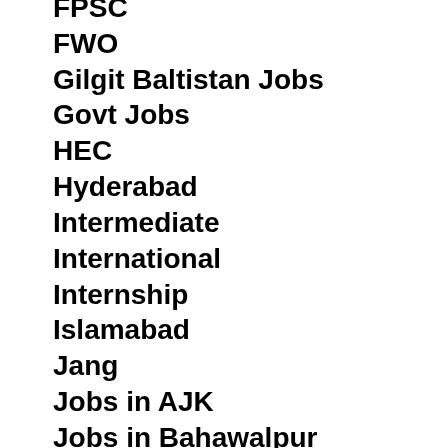FPSC
FWO
Gilgit Baltistan Jobs
Govt Jobs
HEC
Hyderabad
Intermediate
International
Internship
Islamabad
Jang
Jobs in AJK
Jobs in Bahawalpur